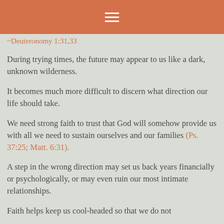≡
~Deuteronomy 1:31,33
During trying times, the future may appear to us like a dark, unknown wilderness.
It becomes much more difficult to discern what direction our life should take.
We need strong faith to trust that God will somehow provide us with all we need to sustain ourselves and our families (Ps. 37:25; Matt. 6:31).
A step in the wrong direction may set us back years financially or psychologically, or may even ruin our most intimate relationships.
Faith helps keep us cool-headed so that we do not